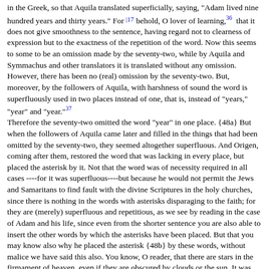in the Greek, so that Aquila translated superficially, saying, "Adam lived nine hundred years and thirty years." For |17 behold, O lover of learning, [36] that it does not give smoothness to the sentence, having regard not to clearness of expression but to the exactness of the repetition of the word. Now this seems to some to be an omission made by the seventy-two, while by Aquila and Symmachus and other translators it is translated without any omission. However, there has been no (real) omission by the seventy-two. But, moreover, by the followers of Aquila, with harshness of sound the word is superfluously used in two places instead of one, that is, instead of "years," "year" and "year." [37] Therefore the seventy-two omitted the word "year" in one place. {48a} But when the followers of Aquila came later and filled in the things that had been omitted by the seventy-two, they seemed altogether superfluous. And Origen, coming after them, restored the word that was lacking in every place, but placed the asterisk by it. Not that the word was of necessity required in all cases ----for it was superfluous----but because he would not permit the Jews and Samaritans to find fault with the divine Scriptures in the holy churches, since there is nothing in the words with asterisks disparaging to the faith; for they are (merely) superfluous and repetitious, as we see by reading in the case of Adam and his life, since even from the shorter sentence you are also able to insert the other words by which the asterisks have been placed. But that you may know also why he placed the asterisk {48b} by these words, without malice we have said this also. You know, O reader, that there are stars in the firmament of heaven, even if they are obscured by clouds or the sun. It was with this thought that he acted when he placed the asterisks, that he might show you that the words to which the asterisks are attached are fixed in the Hebrew Scriptures like the stars in the firmament of heaven, but that they have been obscured by the translation of the seventy-two as the stars are obscured by the clouds. This is the significance of